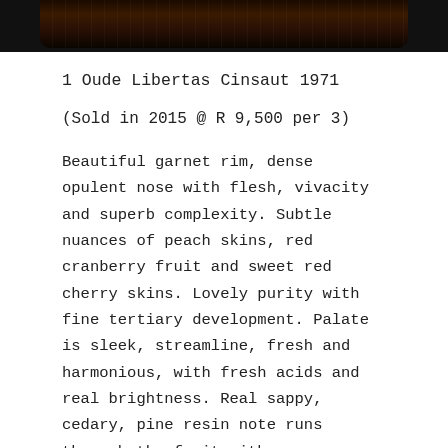[Figure (photo): Partial photo strip at top of page, dark background showing bottom edge of a photo of bottles or wine-related image]
1 Oude Libertas Cinsaut 1971
(Sold in 2015 @ R 9,500 per 3)
Beautiful garnet rim, dense opulent nose with flesh, vivacity and superb complexity. Subtle nuances of peach skins, red cranberry fruit and sweet red cherry skins. Lovely purity with fine tertiary development. Palate is sleek, streamline, fresh and harmonious, with fresh acids and real brightness. Real sappy, cedary, pine resin note runs through the fruit with a savoury, lactic, raisined strawberry finish. Lovely and mature.
(Wine Safari Score: 93/100 Greg Sherwood MW)